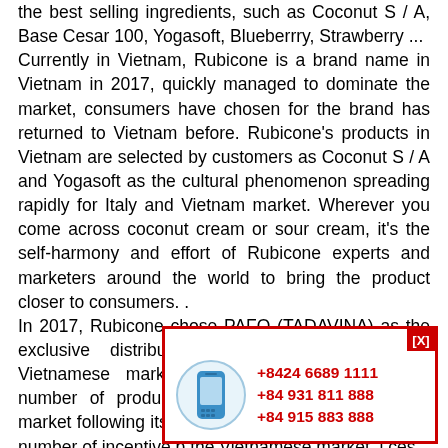the best selling ingredients, such as Coconut S / A, Base Cesar 100, Yogasoft, Blueberrry, Strawberry ... Currently in Vietnam, Rubicone is a brand name in Vietnam in 2017, quickly managed to dominate the market, consumers have chosen for the brand has returned to Vietnam before. Rubicone's products in Vietnam are selected by customers as Coconut S / A and Yogasoft as the cultural phenomenon spreading rapidly for Italy and Vietnam market. Wherever you come across coconut cream or sour cream, it's the self-harmony and effort of Rubicone experts and marketers around the world to bring the product closer to consumers. . In 2017, Rubicone chose PAFO (TADAVINA) as the exclusive distributor for its products in the Vietnamese market. Rubicone has launched a number of products suitable for the Vietnamese market following its previous rivals in Vietnam, with a number of incentive programs for the Vietnamese market, including special prices. Performing leading ti...
[Figure (infographic): A popup advertisement box with a red border and [X] close button, showing a blue mobile phone icon and three phone numbers in red bold text: +8424 6689 1111, +84 931 811 888, +84 915 883 888]